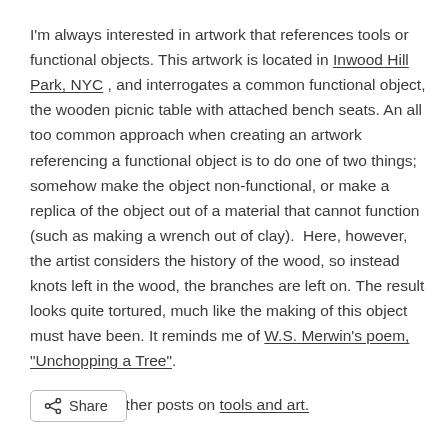I'm always interested in artwork that references tools or functional objects. This artwork is located in Inwood Hill Park, NYC , and interrogates a common functional object, the wooden picnic table with attached bench seats. An all too common approach when creating an artwork referencing a functional object is to do one of two things; somehow make the object non-functional, or make a replica of the object out of a material that cannot function (such as making a wrench out of clay).  Here, however, the artist considers the history of the wood, so instead knots left in the wood, the branches are left on. The result looks quite tortured, much like the making of this object must have been. It reminds me of W.S. Merwin's poem, "Unchopping a Tree".
Some of my other posts on tools and art.